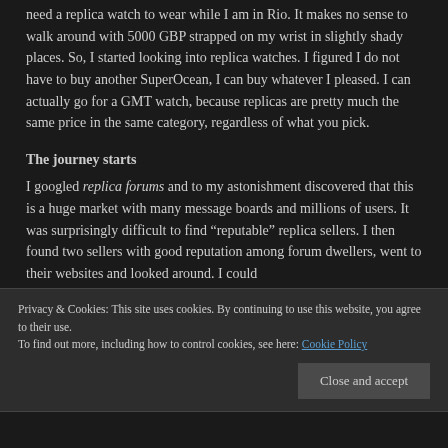need a replica watch to wear while I am in Rio. It makes no sense to walk around with 5000 GBP strapped on my wrist in slightly shady places. So, I started looking into replica watches. I figured I do not have to buy another SuperOcean, I can buy whatever I pleased. I can actually go for a GMT watch, because replicas are pretty much the same price in the same category, regardless of what you pick.
The journey starts
I googled replica forums and to my astonishment discovered that this is a huge market with many message boards and millions of users. It was surprisingly difficult to find “reputable” replica sellers. I then found two sellers with good reputation among forum dwellers, went to their websites and looked around. I could
Privacy & Cookies: This site uses cookies. By continuing to use this website, you agree to their use. To find out more, including how to control cookies, see here: Cookie Policy
Close and accept